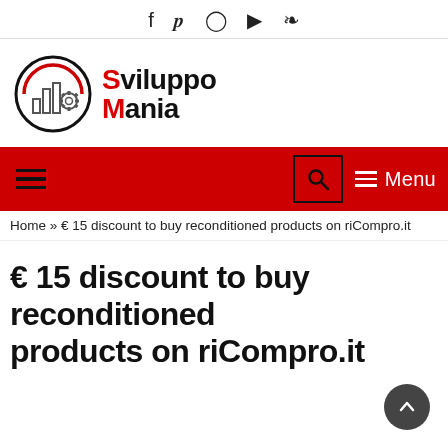f  y  (instagram)  (youtube)  (rss)
[Figure (logo): SviluppoMania logo: circle with bar chart and gear icons, text 'SviluppoMania' with S and M in red]
hamburger menu | search icon | Menu
Home » € 15 discount to buy reconditioned products on riCompro.it
€ 15 discount to buy reconditioned products on riCompro.it